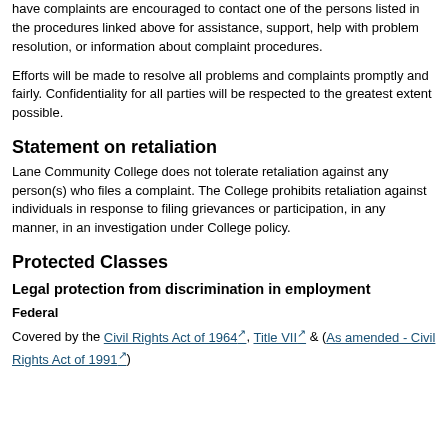have complaints are encouraged to contact one of the persons listed in the procedures linked above for assistance, support, help with problem resolution, or information about complaint procedures.
Efforts will be made to resolve all problems and complaints promptly and fairly. Confidentiality for all parties will be respected to the greatest extent possible.
Statement on retaliation
Lane Community College does not tolerate retaliation against any person(s) who files a complaint. The College prohibits retaliation against individuals in response to filing grievances or participation, in any manner, in an investigation under College policy.
Protected Classes
Legal protection from discrimination in employment
Federal
Covered by the Civil Rights Act of 1964, Title VII & (As amended - Civil Rights Act of 1991)